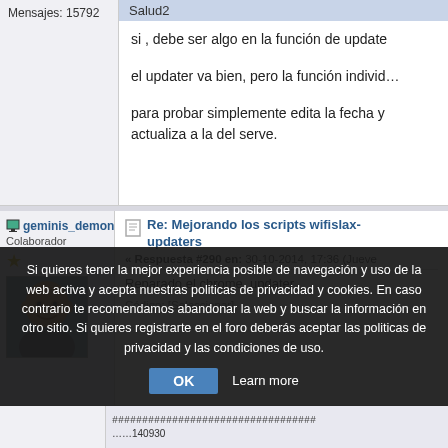Mensajes: 15792
Salud2
si , debe ser algo en la función de update
el updater va bien, pero la función individ…
para probar simplemente edita la fecha y actualiza a la del serve.
geminis_demon
Colaborador
Re: Mejorando los scripts wifislax- updaters
« Respuesta #290 en: 30-10-2014, 17:36 (Jueve
Reparado el chrome_updater
Código: [Seleccionar]
Si quieres tener la mejor experiencia posible de navegación y uso de la web activa y acepta nuestras politicas de privacidad y cookies. En caso contrario te recomendamos abandonar la web y buscar la información en otro sitio. Si quieres registrarte en el foro deberás aceptar las politicas de privacidad y las condiciones de uso.
OK
Learn more